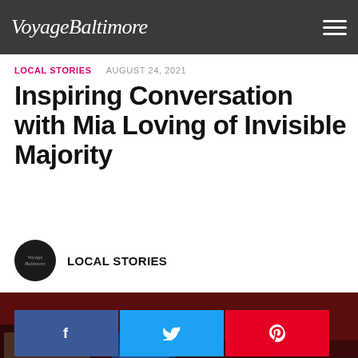VoyageBaltimore
LOCAL STORIES   AUGUST 24, 2021
Inspiring Conversation with Mia Loving of Invisible Majority
LOCAL STORIES
[Figure (photo): Person photographed from behind inside a red-walled room with artwork and instruments, bokeh background with other people visible]
[Figure (infographic): Social share buttons: Facebook (blue), Twitter (light blue), Pinterest (red)]